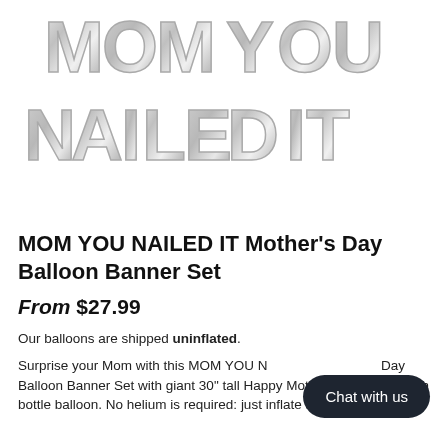[Figure (photo): Silver foil balloon letters spelling MOM YOU NAILED IT arranged in two rows on white background]
MOM YOU NAILED IT Mother's Day Balloon Banner Set
From $27.99
Our balloons are shipped uninflated.
Surprise your Mom with this MOM YOU NAILED IT Mother's Day Balloon Banner Set with giant 30" tall Happy Mother's Day nail polish bottle balloon. No helium is required: just inflate and